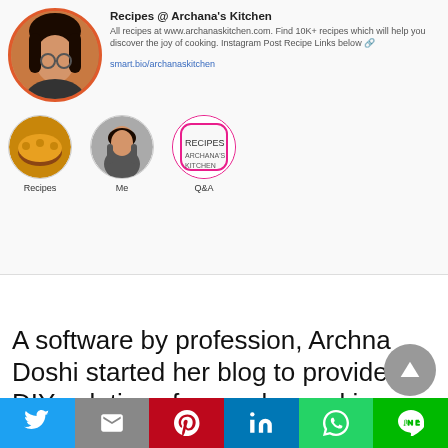[Figure (screenshot): Instagram profile screenshot for Archana's Kitchen showing profile photo, bio text, smart.bio link, and story highlights for Recipes, Me, and Q&A]
A software by profession, Archna Doshi started her blog to provide DIY solutions for regular cooking problems. So, she started the Indian cooking blog based on her cooking experiences. She has her own YouTube channel- Archana's kitchen, where she posts videos about innovative ways of cooking. If you are looking for a home cooking
[Figure (infographic): Social media share bar with Twitter, Gmail/Email, Pinterest, LinkedIn, WhatsApp, and LINE buttons]